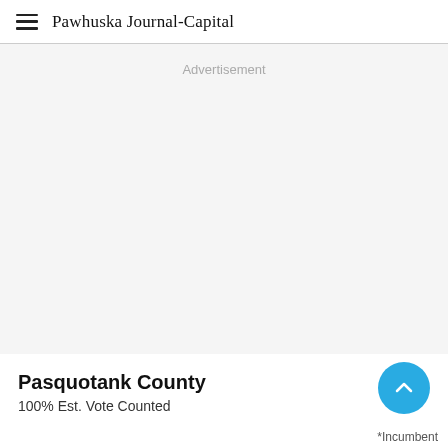Pawhuska Journal-Capital
Advertisement
Pasquotank County
100% Est. Vote Counted
*Incumbent